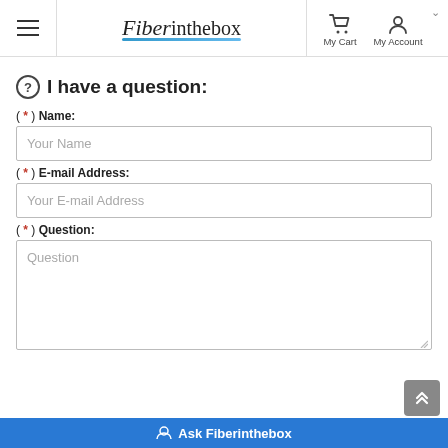Fiberinthebox — My Cart | My Account
I have a question:
( * ) Name:
Your Name
( * ) E-mail Address:
Your E-mail Address
( * ) Question:
Question
Ask Fiberinthebox